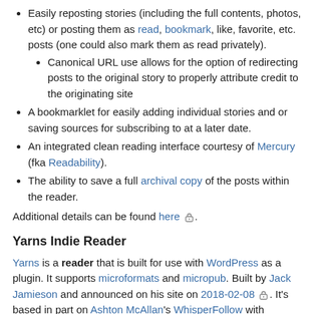Easily reposting stories (including the full contents, photos, etc) or posting them as read, bookmark, like, favorite, etc. posts (one could also mark them as read privately).
Canonical URL use allows for the option of redirecting posts to the original story to properly attribute credit to the originating site
A bookmarklet for easily adding individual stories and or saving sources for subscribing to at a later date.
An integrated clean reading interface courtesy of Mercury (fka Readability).
The ability to save a full archival copy of the posts within the reader.
Additional details can be found here.
Yarns Indie Reader
Yarns is a reader that is built for use with WordPress as a plugin. It supports microformats and micropub. Built by Jack Jamieson and announced on his site on 2018-02-08. It's based in part on Ashton McAllan's WhisperFollow with inspiration by Woodwind.